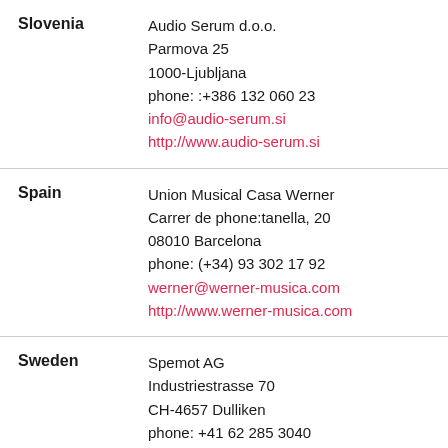Slovenia
Audio Serum d.o.o.
Parmova 25
1000-Ljubljana
phone: :+386 132 060 23
info@audio-serum.si
http://www.audio-serum.si
Spain
Union Musical Casa Werner
Carrer de phone:tanella, 20
08010 Barcelona
phone: (+34) 93 302 17 92
werner@werner-musica.com
http://www.werner-musica.com
Sweden
Spemot AG
Industriestrasse 70
CH-4657 Dulliken
phone: +41 62 285 3040
fax: +41 62 295 5202
info@...